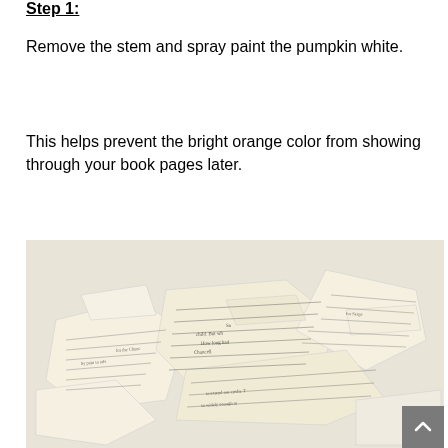Step 1:
Remove the stem and spray paint the pumpkin white.
This helps prevent the bright orange color from showing through your book pages later.
[Figure (photo): A pile of torn book pages with printed text scattered on a white background.]